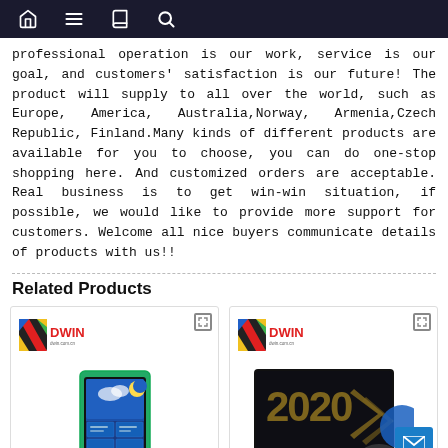[navigation bar with home, menu, book, search icons]
professional operation is our work, service is our goal, and customers' satisfaction is our future! The product will supply to all over the world, such as Europe, America, Australia,Norway, Armenia,Czech Republic, Finland.Many kinds of different products are available for you to choose, you can do one-stop shopping here. And customized orders are acceptable. Real business is to get win-win situation, if possible, we would like to provide more support for customers. Welcome all nice buyers communicate details of products with us!!
Related Products
[Figure (photo): DWIN branded product card showing a small LCD display module with blue screen interface]
[Figure (photo): DWIN branded product card showing a display with '2020' text and digital/tech imagery]